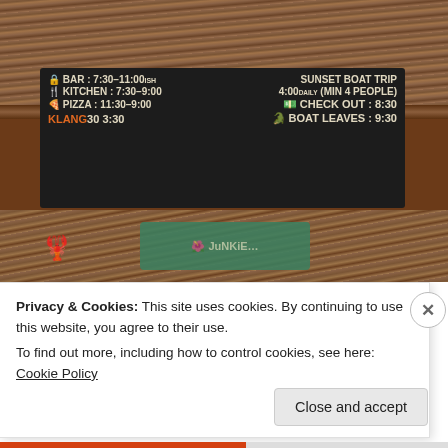[Figure (photo): Photo of a thatched-roof bar/restaurant with a black chalkboard sign showing hours: BAR 7:30-11:00ish, SUNSET BOAT TRIP, KITCHEN 7:30-9:00, 4:00 DAILY (MIN 4 PEOPLE), PIZZA 11:30-9:00, CHECK OUT: 8:30, KLANG30 3:30, BOAT LEAVES 9:30. Colorful painted decorations on walls below.]
Privacy & Cookies: This site uses cookies. By continuing to use this website, you agree to their use.
To find out more, including how to control cookies, see here: Cookie Policy
Close and accept